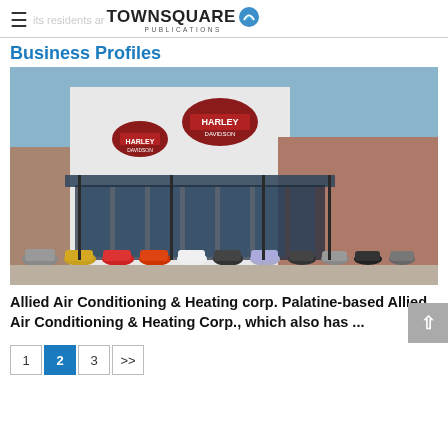TOWNSQUARE PUBLICATIONS
Business Profiles
[Figure (photo): Exterior photo of a Harley-Davidson motorcycle dealership building with motorcycles parked in front. Modern building with glass facade and brick elements, multiple Harley-Davidson logos visible.]
Allied Air Conditioning & Heating corp. Palatine-based Allied Air Conditioning & Heating Corp., which also has ...
1
2
3
>>